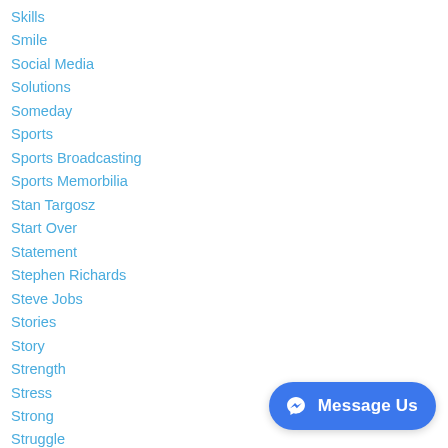Skills
Smile
Social Media
Solutions
Someday
Sports
Sports Broadcasting
Sports Memorbilia
Stan Targosz
Start Over
Statement
Stephen Richards
Steve Jobs
Stories
Story
Strength
Stress
Strong
Struggle
Stuart Scott
Students
[Figure (other): Facebook Messenger 'Message Us' chat button in blue rounded rectangle with messenger icon]